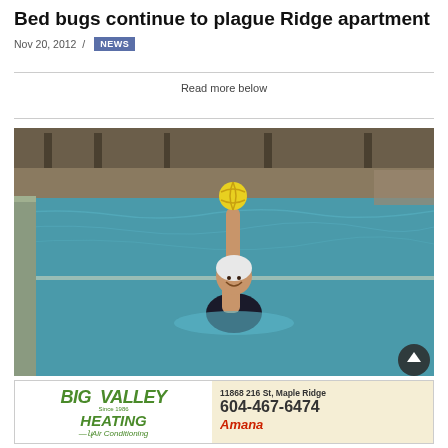Bed bugs continue to plague Ridge apartment
Nov 20, 2012 / NEWS
Read more below
[Figure (photo): A water polo player in a pool holding a yellow ball raised above her head, wearing a black swimsuit and white cap, in an indoor swimming pool facility.]
[Figure (other): Advertisement for Big Valley Heating and Air Conditioning. Address: 11868 216 St, Maple Ridge. Phone: 604-467-6474. Amana brand logo shown.]